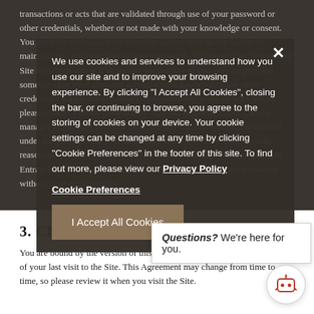transactions or acts that are validated through use of your password or other credentials, whether or not made with your knowledge or consent. You are fully responsible for the other acts as well as any failure to maintain the confidentiality of your password. All transactions through the Site for which you will be legally responsible to you ever suspect that someone may have obtained access to your password or any other credentials who is not intended to have authority to act on your behalf, please contact Entrata immediately. You can authorize Entrata, as the manager of the Site, to refuse to accept any further transactions initiated under the password on your behalf and Entrata will use commercially reasonable efforts to block such transactions. Property Management and Entrata have no liability for transactions initiated under your password without your authorization.
[Figure (screenshot): Cookie consent banner overlay with dark background containing cookie policy text, Privacy Policy link, Cookie Preferences link, and I Accept All Cookies button. An X close button is in the top right.]
3. CHANGES TO THE
You are bound by the version of this Agreement that is in effect on the date of your last visit to the Site. This Agreement may change from time to time, so please review it when you visit the Site.
[Figure (screenshot): Chat widget with text: Questions? We're here for you. And a chat bot icon in the bottom right corner.]